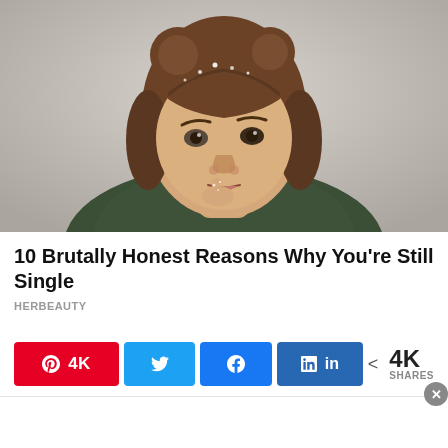[Figure (photo): Young woman with brown hair in two bun hairstyle with bangs, wearing a dark green sweater, looking at camera with finger near mouth, snow or glitter in hair, light gray background]
10 Brutally Honest Reasons Why You're Still Single
HERBEAUTY
4K  [Pinterest share button]  [Twitter share button]  [Facebook share button]  [LinkedIn share button]  < 4K SHARES